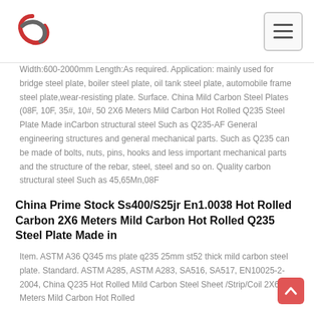Logo and navigation header
Width:600-2000mm Length:As required. Application: mainly used for bridge steel plate, boiler steel plate, oil tank steel plate, automobile frame steel plate,wear-resisting plate. Surface. China Mild Carbon Steel Plates (08F, 10F, 35#, 10#, 50 2X6 Meters Mild Carbon Hot Rolled Q235 Steel Plate Made inCarbon structural steel Such as Q235-AF General engineering structures and general mechanical parts. Such as Q235 can be made of bolts, nuts, pins, hooks and less important mechanical parts and the structure of the rebar, steel, steel and so on. Quality carbon structural steel Such as 45,65Mn,08F
China Prime Stock Ss400/S25jr En1.0038 Hot Rolled Carbon 2X6 Meters Mild Carbon Hot Rolled Q235 Steel Plate Made in
Item. ASTM A36 Q345 ms plate q235 25mm st52 thick mild carbon steel plate. Standard. ASTM A285, ASTM A283, SA516, SA517, EN10025-2-2004, China Q235 Hot Rolled Mild Carbon Steel Sheet /Strip/Coil 2X6 Meters Mild Carbon Hot Rolled